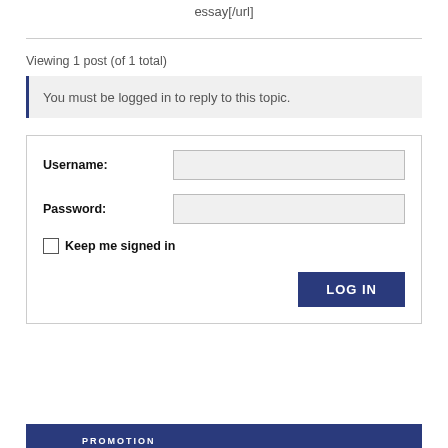essay[/url]
Viewing 1 post (of 1 total)
You must be logged in to reply to this topic.
Username: [input field] Password: [input field] Keep me signed in [checkbox] LOG IN [button]
PROMOTION